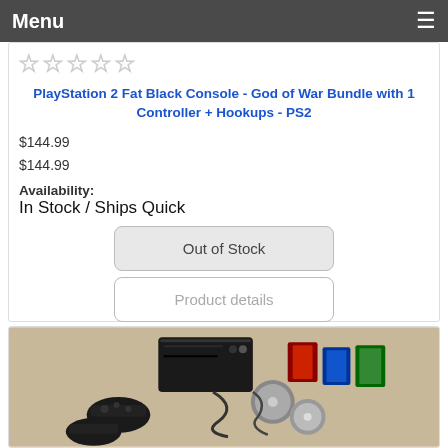Menu
[Figure (other): Five empty star rating icons]
PlayStation 2 Fat Black Console - God of War Bundle with 1 Controller + Hookups - PS2
$144.99
$144.99
Availability:
In Stock / Ships Quick
Out of Stock
Product details
[Figure (photo): Photo of a PlayStation 2 fat black console with controllers and game discs/cases spread out on a surface]